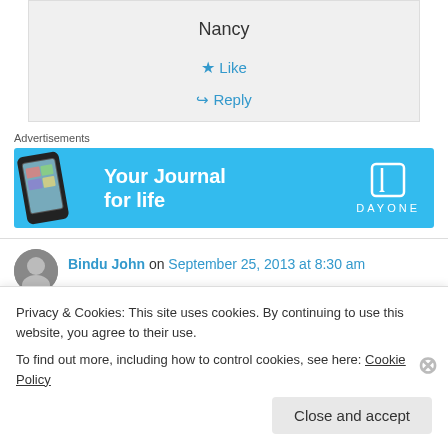Nancy
★ Like
↪ Reply
Advertisements
[Figure (illustration): DayOne app advertisement banner: light blue background with phone mockup on the left, text 'Your Journal for life' in white bold, and DayOne logo with bookmark icon on the right.]
Bindu John on September 25, 2013 at 8:30 am
Privacy & Cookies: This site uses cookies. By continuing to use this website, you agree to their use.
To find out more, including how to control cookies, see here: Cookie Policy
Close and accept